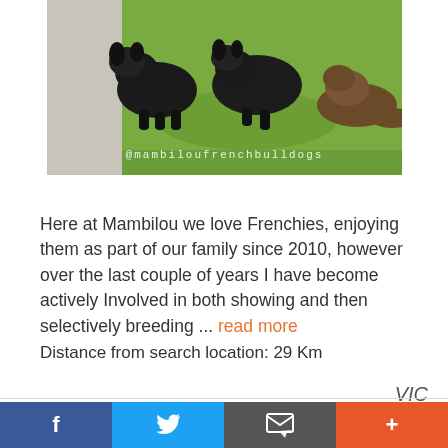[Figure (photo): Photo of black French Bulldogs playing on grass with watermark @mambiloufrenchbulldogs]
Here at Mambilou we love Frenchies, enjoying them as part of our family since 2010, however over the last couple of years I have become actively Involved in both showing and then selectively breeding ... read more
Distance from search location: 29 Km
VIC
f  [Twitter bird]  [Email icon]  +